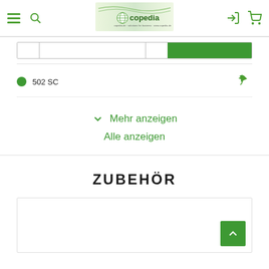[Figure (screenshot): Copedia website header with hamburger menu, search icon, Copedia logo, login icon, and cart icon]
[Figure (screenshot): Partial search/filter bar with left box, middle box, right box and green section]
502 SC
Mehr anzeigen
Alle anzeigen
ZUBEHÖR
[Figure (screenshot): Empty product card area with back-to-top green button]